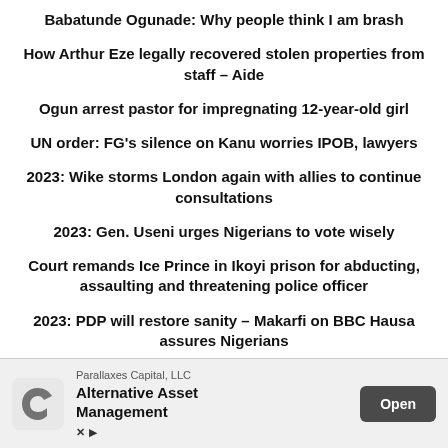Babatunde Ogunade: Why people think I am brash
How Arthur Eze legally recovered stolen properties from staff – Aide
Ogun arrest pastor for impregnating 12-year-old girl
UN order: FG's silence on Kanu worries IPOB, lawyers
2023: Wike storms London again with allies to continue consultations
2023: Gen. Useni urges Nigerians to vote wisely
Court remands Ice Prince in Ikoyi prison for abducting, assaulting and threatening police officer
2023: PDP will restore sanity – Makarfi on BBC Hausa assures Nigerians
Over 50,000 telecom infrastructure destruction reported in 5
[Figure (infographic): Advertisement banner for Parallaxes Capital, LLC – Alternative Asset Management with an Open button]